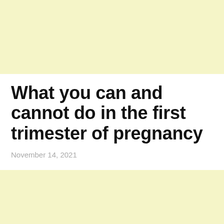What you can and cannot do in the first trimester of pregnancy
November 14, 2021